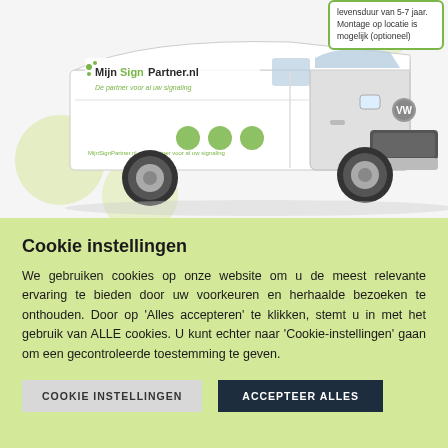[Figure (photo): White Volkswagen Transporter van with MijnSignPartner.nl branding and green logo. Green circular decorations on the van side. Speech bubble top-right with text about levensduur van 5-7 jaar and Montage op locatie is mogelijk (optioneel).]
Cookie instellingen
We gebruiken cookies op onze website om u de meest relevante ervaring te bieden door uw voorkeuren en herhaalde bezoeken te onthouden. Door op 'Alles accepteren' te klikken, stemt u in met het gebruik van ALLE cookies. U kunt echter naar 'Cookie-instellingen' gaan om een gecontroleerde toestemming te geven.
COOKIE INSTELLINGEN | ACCEPTEER ALLES